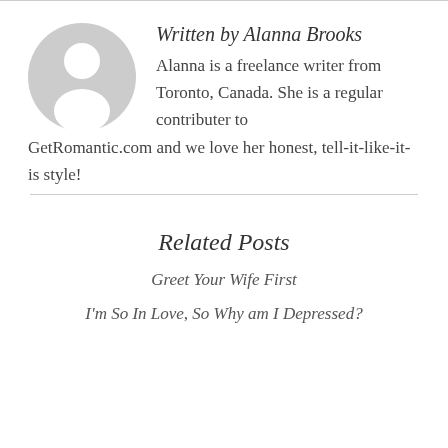[Figure (illustration): Circular avatar placeholder with grey background and white silhouette of a person (head and shoulders)]
Written by Alanna Brooks
Alanna is a freelance writer from Toronto, Canada. She is a regular contributer to GetRomantic.com and we love her honest, tell-it-like-it-is style!
Related Posts
Greet Your Wife First
I'm So In Love, So Why am I Depressed?